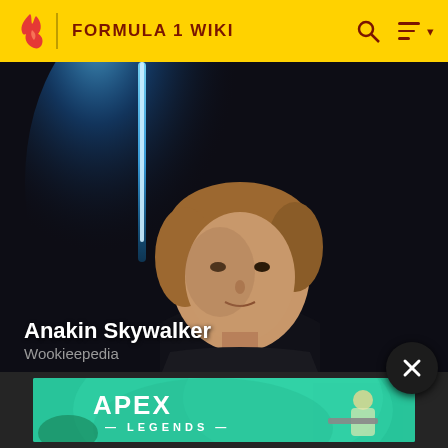FORMULA 1 WIKI
[Figure (photo): Dark cinematic photo of Anakin Skywalker (Hayden Christensen) with a blue lightsaber glow in the background]
Anakin Skywalker
Wookieepedia
[Figure (photo): Apex Legends advertisement banner featuring a character with a sniper rifle on a teal/green background]
APEX LEGENDS